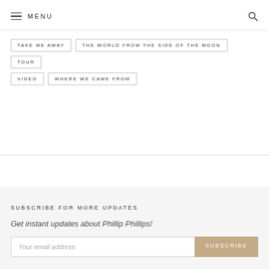MENU
TAKE ME AWAY
THE WORLD FROM THE SIDE OF THE MOON
TOUR
VIDEO
WHERE WE CAME FROM
SUBSCRIBE FOR MORE UPDATES
Get instant updates about Phillip Phillips!
Your email address
SUBSCRIBE